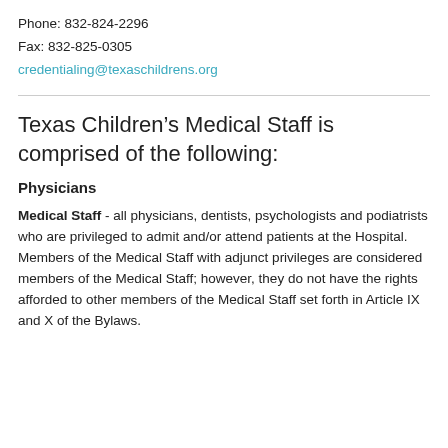Phone: 832-824-2296
Fax: 832-825-0305
credentialing@texaschildrens.org
Texas Children's Medical Staff is comprised of the following:
Physicians
Medical Staff - all physicians, dentists, psychologists and podiatrists who are privileged to admit and/or attend patients at the Hospital.  Members of the Medical Staff with adjunct privileges are considered members of the Medical Staff; however, they do not have the rights afforded to other members of the Medical Staff set forth in Article IX and X of the Bylaws.